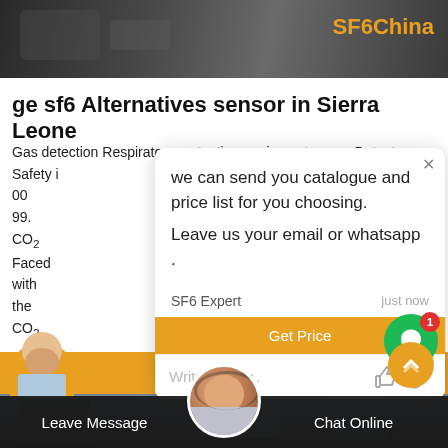[Figure (screenshot): Top banner with dark machinery background and SF6China logo in orange]
ge sf6 Alternatives sensor in Sierra Leone
Gas detection Respiratory protection equipment - GazDetect. Safety i... )1 83 99 00 99. CO2... lity. Faced with the... erosols, CO2 ...tion
[Figure (screenshot): Chat popup overlay with message: we can send you catalogue and price list for you choosing. Leave us your email or whatsapp. SF6 Expert, just now. Get Price button. Write a reply input box.]
[Figure (screenshot): Bottom section showing industrial equipment background image, agent photo center, Leave Message and Chat Online footer buttons, scroll-up button]
Leave Message
Chat Online